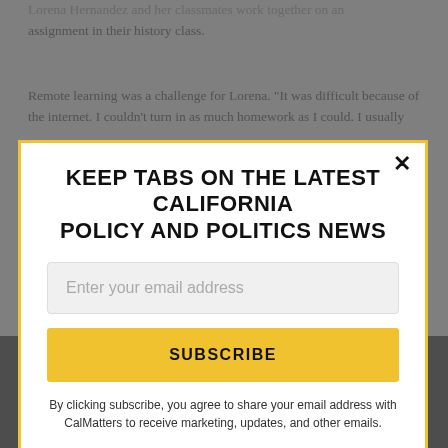Lorena Hernandez and her classmates work together on an assignment in their history class.
Remote learning was a challenge for Lorena. "It was difficult because of the internet. I couldn't turn in as much homework as I could. I usually
KEEP TABS ON THE LATEST CALIFORNIA POLICY AND POLITICS NEWS
Enter your email address
SUBSCRIBE
By clicking subscribe, you agree to share your email address with CalMatters to receive marketing, updates, and other emails.
[Figure (photo): A dark photo showing what appears to be a table surface with a clear glass bottle and a dark object, photographed in low lighting.]